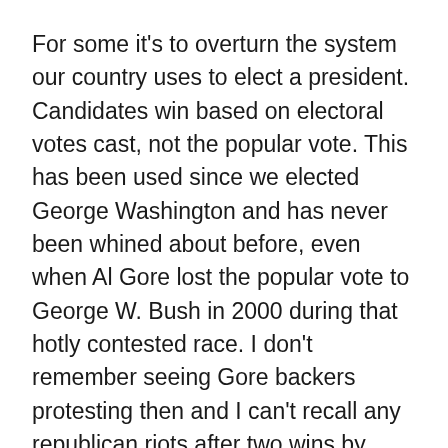For some it's to overturn the system our country uses to elect a president. Candidates win based on electoral votes cast, not the popular vote. This has been used since we elected George Washington and has never been whined about before, even when Al Gore lost the popular vote to George W. Bush in 2000 during that hotly contested race. I don't remember seeing Gore backers protesting then and I can't recall any republican riots after two wins by Barack Obama. But, for some reason supporters of Hillary Clinton feel the law needs to be changed for her and for them. Shocker.